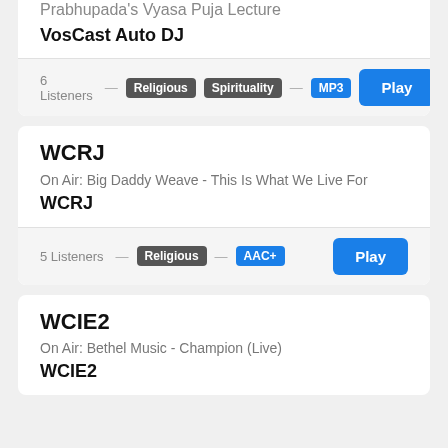Prabhupada's Vyasa Puja Lecture
VosCast Auto DJ
6 Listeners — Religious Spirituality — MP3
WCRJ
On Air: Big Daddy Weave - This Is What We Live For
WCRJ
5 Listeners — Religious — AAC+
WCIE2
On Air: Bethel Music - Champion (Live)
WCIE2